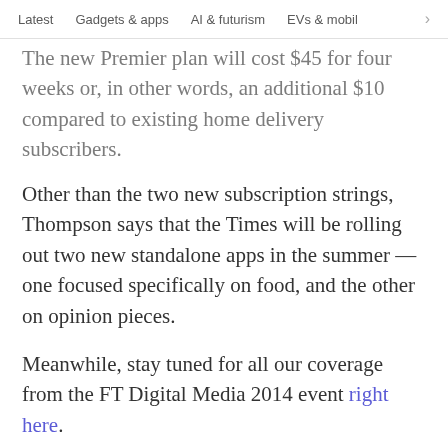Latest   Gadgets & apps   AI & futurism   EVs & mobil  >
The new Premier plan will cost $45 for four weeks or, in other words, an additional $10 compared to existing home delivery subscribers.
Other than the two new subscription strings, Thompson says that the Times will be rolling out two new standalone apps in the summer — one focused specifically on food, and the other on opinion pieces.
Meanwhile, stay tuned for all our coverage from the FT Digital Media 2014 event right here.
Headline image via Mario Tama/Getty Images
Published March 26, 2014 - 11:27 am UTC